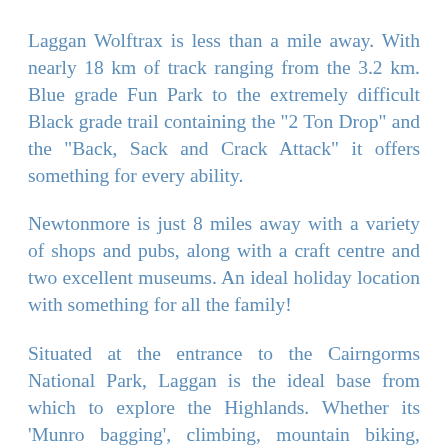Laggan Wolftrax is less than a mile away. With nearly 18 km of track ranging from the 3.2 km. Blue grade Fun Park to the extremely difficult Black grade trail containing the "2 Ton Drop" and the "Back, Sack and Crack Attack" it offers something for every ability.
Newtonmore is just 8 miles away with a variety of shops and pubs, along with a craft centre and two excellent museums. An ideal holiday location with something for all the family!
Situated at the entrance to the Cairngorms National Park, Laggan is the ideal base from which to explore the Highlands. Whether its 'Munro bagging', climbing, mountain biking, golfing, fishing, skiing, riding, watersports, bird watching or absorbing the atmosphere of Glenbogle, Laggan has it all. Where better than the Drey to enjoy a family holiday, a reunion of friends or a